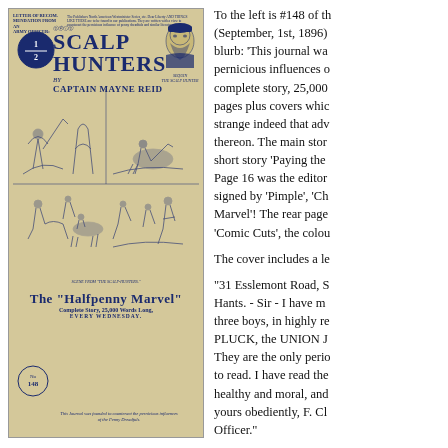[Figure (photo): Cover of The Halfpenny Marvel No. 148 (September 1st, 1896) featuring 'The Scalp Hunters' by Captain Mayne Reid. The cover shows illustrated scenes of frontier action and a portrait of a man labeled 'Sequin the Scalp Hunter'. The magazine masthead reads 'The Halfpenny Marvel, Complete Story, 25,000 Words Long, Every Wednesday.']
To the left is #148 of the (September, 1st, 1896) blurb: 'This journal was pernicious influences of complete story, 25,000 pages plus covers whic strange indeed that adv thereon. The main stor short story 'Paying the Page 16 was the editor signed by 'Pimple', 'Ch Marvel'! The rear page 'Comic Cuts', the colou
The cover includes a le
"31 Esslemont Road, S Hants. - Sir - I have m three boys, in highly re PLUCK, the UNION J They are the only perio to read. I have read the healthy and moral, and yours obediently, F. Cl Officer."